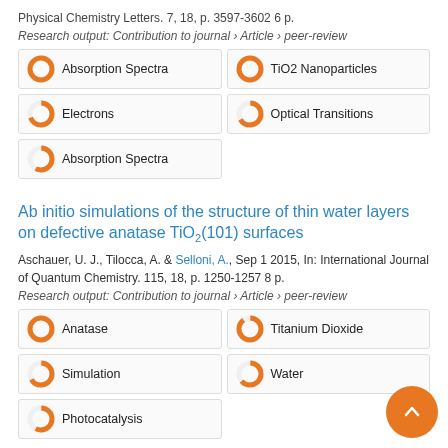Physical Chemistry Letters. 7, 18, p. 3597-3602 6 p.
Research output: Contribution to journal › Article › peer-review
Absorption Spectra
TiO2 Nanoparticles
Electrons
Optical Transitions
Absorption Spectra
Ab initio simulations of the structure of thin water layers on defective anatase TiO2(101) surfaces
Aschauer, U. J., Tilocca, A. & Selloni, A., Sep 1 2015, In: International Journal of Quantum Chemistry. 115, 18, p. 1250-1257 8 p.
Research output: Contribution to journal › Article › peer-review
Anatase
Titanium Dioxide
Simulation
Water
Photocatalysis